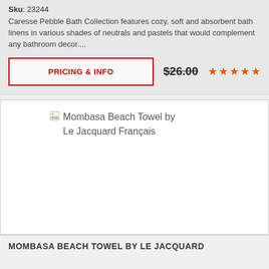Sku: 23244
Caresse Pebble Bath Collection features cozy, soft and absorbent bath linens in various shades of neutrals and pastels that would complement any bathroom decor....
PRICING & INFO
$26.00
[Figure (other): Five orange star rating icons]
[Figure (photo): Mombasa Beach Towel by Le Jacquard Français product image placeholder (broken image icon with alt text)]
MOMBASA BEACH TOWEL BY LE JACQUARD